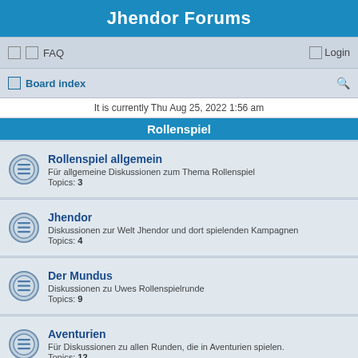Jhendor Forums
FAQ  Login
Board index
It is currently Thu Aug 25, 2022 1:56 am
Rollenspiel
Rollenspiel allgemein
Für allgemeine Diskussionen zum Thema Rollenspiel
Topics: 3
Jhendor
Diskussionen zur Welt Jhendor und dort spielenden Kampagnen
Topics: 4
Der Mundus
Diskussionen zu Uwes Rollenspielrunde
Topics: 9
Aventurien
Für Diskussionen zu allen Runden, die in Aventurien spielen.
Topics: 12
Torg & Torg Eternity
Diskussionsforum für die Torg-Runden
Topics: 5
Mortal Coil